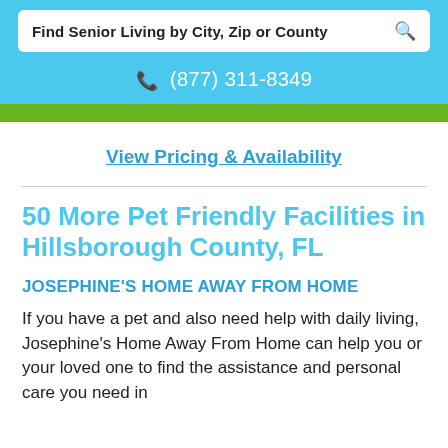Find Senior Living by City, Zip or County
(877) 311-8349
View Pricing & Availability
50 More Pet Friendly Facilities in Hillsborough County, FL
JOSEPHINE'S HOME AWAY FROM HOME
If you have a pet and also need help with daily living, Josephine's Home Away From Home can help you or your loved one to find the assistance and personal care you need in